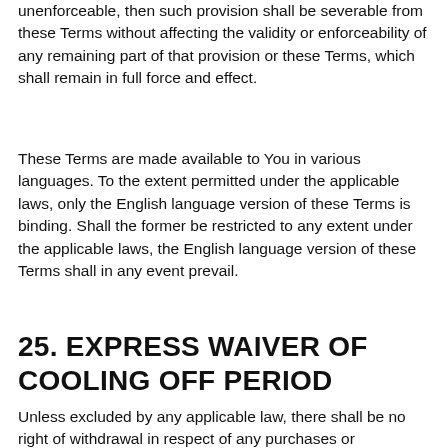unenforceable, then such provision shall be severable from these Terms without affecting the validity or enforceability of any remaining part of that provision or these Terms, which shall remain in full force and effect.
These Terms are made available to You in various languages. To the extent permitted under the applicable laws, only the English language version of these Terms is binding. Shall the former be restricted to any extent under the applicable laws, the English language version of these Terms shall in any event prevail.
25. EXPRESS WAIVER OF COOLING OFF PERIOD
Unless excluded by any applicable law, there shall be no right of withdrawal in respect of any purchases or